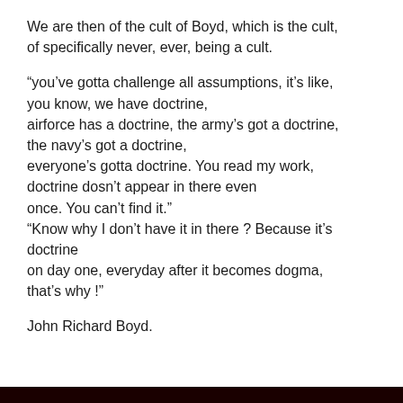We are then of the cult of Boyd, which is the cult, of specifically never, ever, being a cult.
“you’ve gotta challenge all assumptions, it’s like, you know, we have doctrine, airforce has a doctrine, the army’s got a doctrine, the navy’s got a doctrine, everyone’s gotta doctrine. You read my work, doctrine dosn’t appear in there even once. You can’t find it.” “Know why I don’t have it in there ? Because it’s doctrine on day one, everyday after it becomes dogma, that’s why !”
John Richard Boyd.